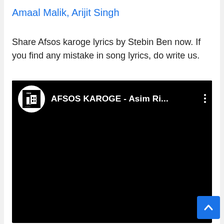Amaal Malik, Arijit Singh
Share Afsos karoge lyrics by Stebin Ben now. If you find any mistake in song lyrics, do write us.
[Figure (screenshot): Embedded YouTube video player showing 'AFSOS KAROGE - Asim Ri...' with Desi Music Factory channel logo, black video frame with video title bar at top]